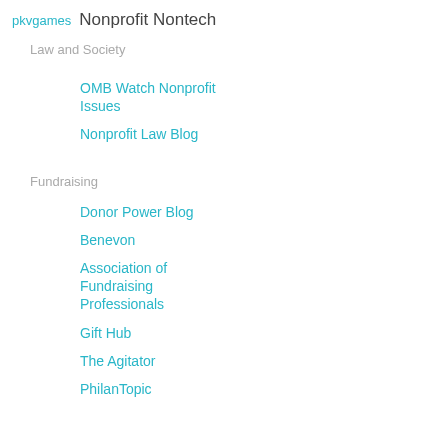pkvgames  Nonprofit Nontech
Law and Society
OMB Watch Nonprofit Issues
Nonprofit Law Blog
Fundraising
Donor Power Blog
Benevon
Association of Fundraising Professionals
Gift Hub
The Agitator
PhilanTopic